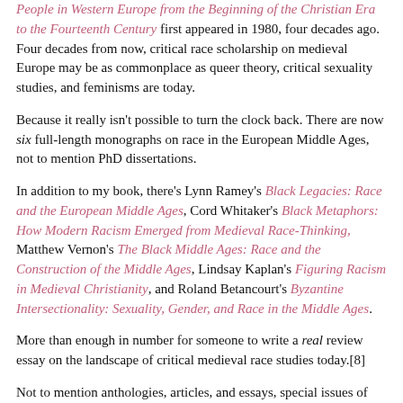People in Western Europe from the Beginning of the Christian Era to the Fourteenth Century first appeared in 1980, four decades ago. Four decades from now, critical race scholarship on medieval Europe may be as commonplace as queer theory, critical sexuality studies, and feminisms are today.
Because it really isn't possible to turn the clock back. There are now six full-length monographs on race in the European Middle Ages, not to mention PhD dissertations.
In addition to my book, there's Lynn Ramey's Black Legacies: Race and the European Middle Ages, Cord Whitaker's Black Metaphors: How Modern Racism Emerged from Medieval Race-Thinking, Matthew Vernon's The Black Middle Ages: Race and the Construction of the Middle Ages, Lindsay Kaplan's Figuring Racism in Medieval Christianity, and Roland Betancourt's Byzantine Intersectionality: Sexuality, Gender, and Race in the Middle Ages.
More than enough in number for someone to write a real review essay on the landscape of critical medieval race studies today.[8]
Not to mention anthologies, articles, and essays, special issues of